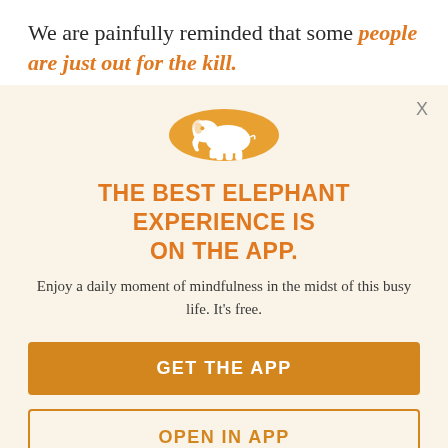We are painfully reminded that some people are just out for the kill.
[Figure (illustration): Background watermark italic text from article about hunters and emotional manipulation, rendered in light tan/beige color behind modal overlay]
X
[Figure (logo): White elephant silhouette on a circular orange/amber background — Elephant app logo]
THE BEST ELEPHANT EXPERIENCE IS ON THE APP.
Enjoy a daily moment of mindfulness in the midst of this busy life. It's free.
GET THE APP
OPEN IN APP